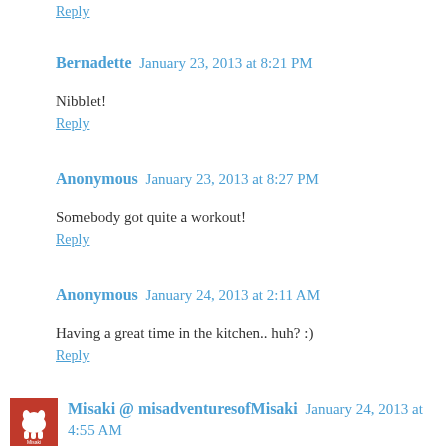Reply
Bernadette  January 23, 2013 at 8:21 PM
Nibblet!
Reply
Anonymous  January 23, 2013 at 8:27 PM
Somebody got quite a workout!
Reply
Anonymous  January 24, 2013 at 2:11 AM
Having a great time in the kitchen.. huh? :)
Reply
Misaki @ misadventuresofMisaki  January 24, 2013 at 4:55 AM